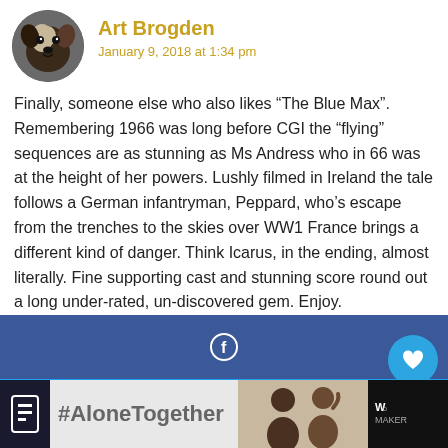[Figure (photo): Circular avatar photo of a dog, black and white, looking at camera]
Art Brogden
January 9, 2018 at 1:34 pm
Finally, someone else who also likes “The Blue Max”. Remembering 1966 was long before CGI the “flying” sequences are as stunning as Ms Andress who in 66 was at the height of her powers. Lushly filmed in Ireland the tale follows a German infantryman, Peppard, who’s escape from the trenches to the skies over WW1 France brings a different kind of danger. Think Icarus, in the ending, almost literally. Fine supporting cast and stunning score round out a long under-rated, un-discovered gem. Enjoy.
[Figure (screenshot): Social share bar buttons: Facebook (blue), Twitter (light blue), WhatsApp (green), Telegram (blue). Floating widgets: heart/like button, share count 1, share action button.]
[Figure (screenshot): Ad banner at bottom: #AloneTogether text, photo of people, close button X, logo on right]